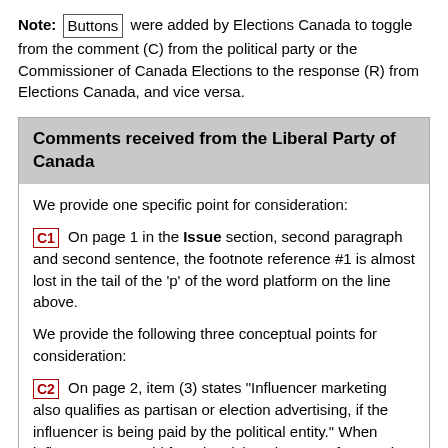Note: Buttons were added by Elections Canada to toggle from the comment (C) from the political party or the Commissioner of Canada Elections to the response (R) from Elections Canada, and vice versa.
Comments received from the Liberal Party of Canada
We provide one specific point for consideration:
C1  On page 1 in the Issue section, second paragraph and second sentence, the footnote reference #1 is almost lost in the tail of the 'p' of the word platform on the line above.
We provide the following three conceptual points for consideration:
C2  On page 2, item (3) states "Influencer marketing also qualifies as partisan or election advertising, if the influencer is being paid by the political entity." When influencers are paid for advertising, they may frequently include a simple disclaimer (i.e. '#ad') at the end of their post. In a situation where influencer